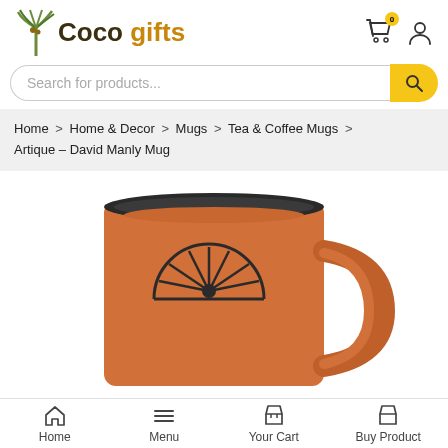Coco gifts
Search for products...
Home > Home & Decor > Mugs > Tea & Coffee Mugs > Artique – David Manly Mug
[Figure (photo): Orange ceramic mug (Artique – David Manly Mug) with a dark rim and a sunburst/wheel logo on the side, shown partially cropped at the bottom of the page.]
Home   Menu   Your Cart   Buy Product